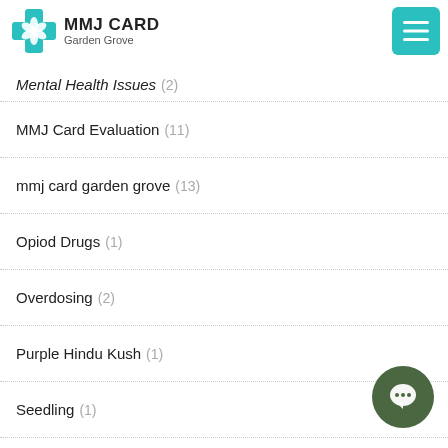MMJ Card Garden Grove
Mental Health Issues (2)
MMJ Card Evaluation (11)
mmj card garden grove (13)
Opiod Drugs (1)
Overdosing (2)
Purple Hindu Kush (1)
Seedling (1)
Smoking (1)
Symptoms of ADD/ADHD (1)